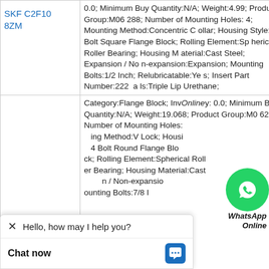| Part Number | Description |
| --- | --- |
| SKF C2F108ZM | 0.0; Minimum Buy Quantity:N/A; Weight:4.99; Product Group:M06288; Number of Mounting Holes:4; Mounting Method:Concentric Collar; Housing Style:4 Bolt Square Flange Block; Rolling Element:Spherical Roller Bearing; Housing Material:Cast Steel; Expansion / Non-expansion:Expansion; Mounting Bolts:1/2 Inch; Relubricatable:Yes; Insert Part Number:222[...]; Seals:Triple Lip Urethane; |
| NTN UEL207-107D1 | Category:Flange Block; Inventory:0.0; Minimum Buy Quantity:N/A; Weight:19.068; Product Group:M06288; Number of Mounting Holes: [ing Method:V Lock; Housing:4 Bolt Round Flange Block; Rolling Element:Spherical Roller Bearing; Housing Material:Cast [n / Non-expansio [ounting Bolts:7/8 I |
[Figure (logo): WhatsApp green circular icon with phone handset]
WhatsApp Online
Hello, how may I help you?
Chat now